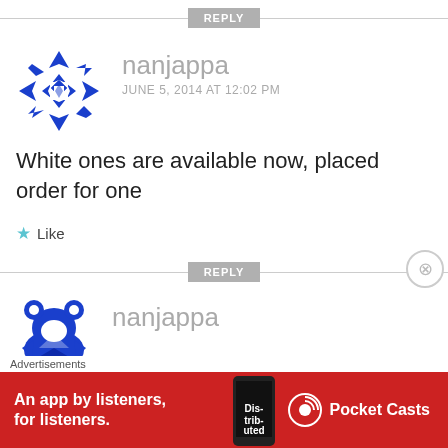REPLY
nanjappa
JUNE 5, 2014 AT 12:02 PM
White ones are available now, placed order for one
★ Like
REPLY
nanjappa
[Figure (illustration): Blue geometric snowflake/star avatar icon]
[Figure (illustration): Blue geometric bear/animal avatar icon (partial)]
[Figure (screenshot): Red advertisement banner: An app by listeners, for listeners. Pocket Casts]